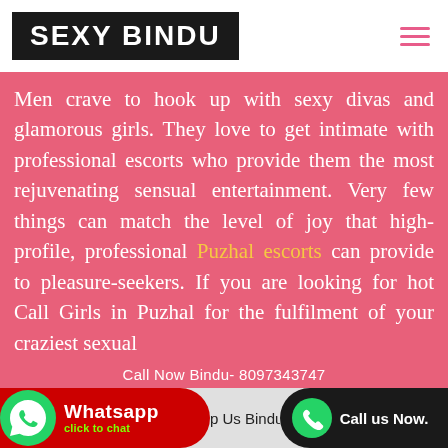SEXY BINDU
Men crave to hook up with sexy divas and glamorous girls. They love to get intimate with professional escorts who provide them the most rejuvenating sensual entertainment. Very few things can match the level of joy that high-profile, professional Puzhal escorts can provide to pleasure-seekers. If you are looking for hot Call Girls in Puzhal for the fulfilment of your craziest sexual
Call Now Bindu- 8097343747
Whatsapp  click to chat  p Us Bindu - 80973...  Call us Now.